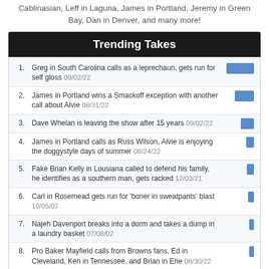Cablinasian, Leff in Laguna, James in Portland, Jeremy in Green Bay, Dan in Denver, and many more!
Trending Takes
Greg in South Carolina calls as a leprechaun, gets run for self gloss 09/02/22
James in Portland wins a Smackoff exception with another call about Alvie 08/31/22
Dave Whelan is leaving the show after 15 years 09/02/22
James in Portland calls as Russ Wilson, Alvie is enjoying the doggystyle days of summer 08/24/22
Fake Brian Kelly in Lousiana called to defend his family, he identifies as a southern man, gets racked 12/03/21
Carl in Rosemead gets run for 'boner in sweatpants' blast 10/05/07
Najeh Davenport breaks into a dorm and takes a dump in a laundry basket 07/08/02
Pro Baker Mayfield calls from Browns fans, Ed in Cleveland, Ken in Tennessee, and Brian in Erie 08/30/22
ATP's - Geoff in Lincoln thinks that Edward Moreno is Choc 08/29/22
Mark Grace Slumpbuster